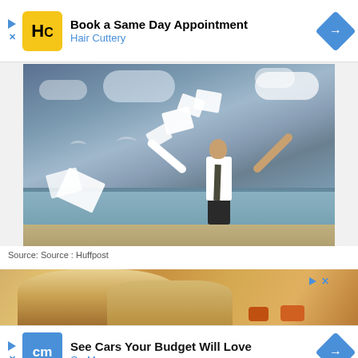[Figure (infographic): Hair Cuttery advertisement banner: logo with HC initials on yellow background, text 'Book a Same Day Appointment' and 'Hair Cuttery', blue diamond arrow navigation icon]
[Figure (photo): Man in white shirt and tie standing at the beach with arms raised, papers flying in the air around him against a cloudy sky]
Source: Source : Huffpost
[Figure (photo): Food advertisement image showing bread/biscuit with orange food items on a plate]
[Figure (infographic): CarMax advertisement banner: cm logo on dark blue/blue background, text 'See Cars Your Budget Will Love' and 'CarMax', blue diamond arrow navigation icon]